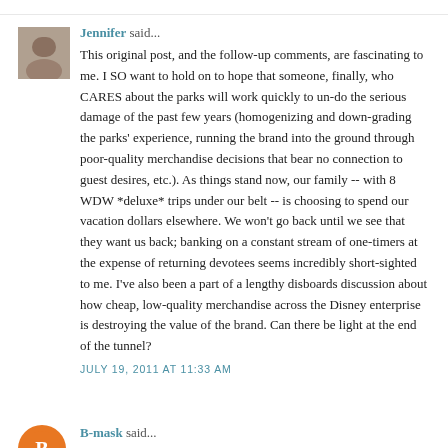Jennifer said...
This original post, and the follow-up comments, are fascinating to me. I SO want to hold on to hope that someone, finally, who CARES about the parks will work quickly to un-do the serious damage of the past few years (homogenizing and down-grading the parks' experience, running the brand into the ground through poor-quality merchandise decisions that bear no connection to guest desires, etc.). As things stand now, our family -- with 8 WDW *deluxe* trips under our belt -- is choosing to spend our vacation dollars elsewhere. We won't go back until we see that they want us back; banking on a constant stream of one-timers at the expense of returning devotees seems incredibly short-sighted to me. I've also been a part of a lengthy disboards discussion about how cheap, low-quality merchandise across the Disney enterprise is destroying the value of the brand. Can there be light at the end of the tunnel?
JULY 19, 2011 AT 11:33 AM
B-mask said...
I'm a teen boy, and the princesses is part of what I think makes